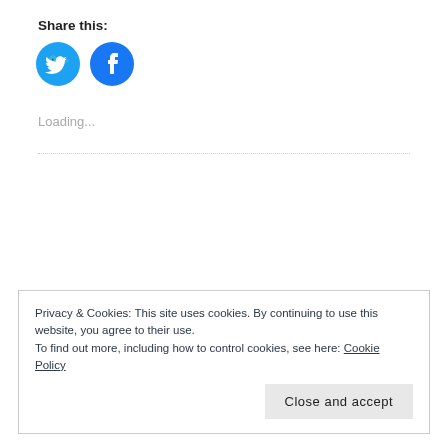Share this:
[Figure (illustration): Two social media icon circles: Twitter (bird icon, blue) and Facebook (f icon, blue)]
Loading...
Privacy & Cookies: This site uses cookies. By continuing to use this website, you agree to their use.
To find out more, including how to control cookies, see here: Cookie Policy
Close and accept